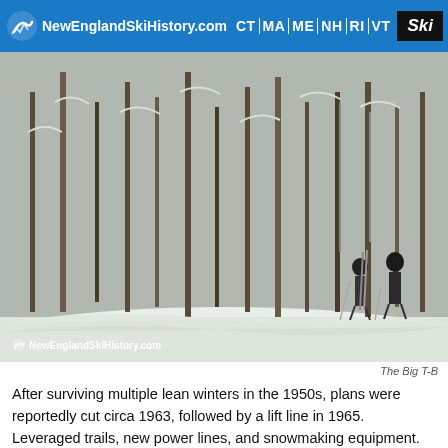NewEnglandSkiHistory.com  CT | MA | ME | NH | RI | VT  Ski
[Figure (photo): Two skiers standing in deep snow with snow-covered trees in the background, photographed on a winter day. Watermark: NewEnglandSkiHistory.com]
The Big T-B
After surviving multiple lean winters in the 1950s, plans were reportedly cut circa 1963, followed by a lift line in 1965. Leveraged trails, new power lines, and snowmaking equipment.